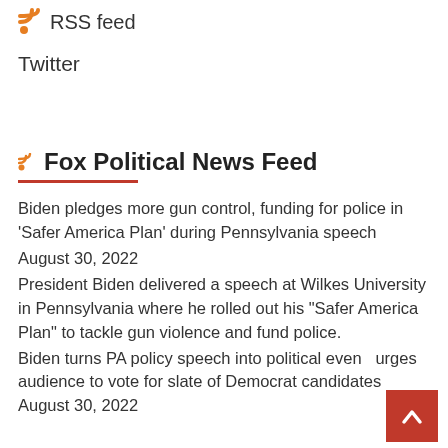RSS feed
Twitter
Fox Political News Feed
Biden pledges more gun control, funding for police in 'Safer America Plan' during Pennsylvania speech
August 30, 2022
President Biden delivered a speech at Wilkes University in Pennsylvania where he rolled out his "Safer America Plan" to tackle gun violence and fund police.
Biden turns PA policy speech into political event, urges audience to vote for slate of Democrat candidates August 30, 2022